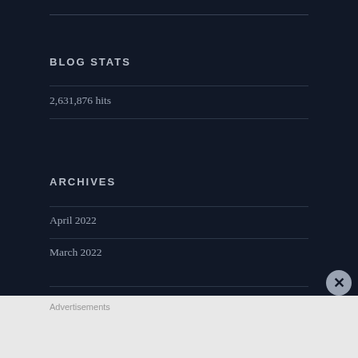BLOG STATS
2,631,876 hits
ARCHIVES
April 2022
March 2022
Advertisements